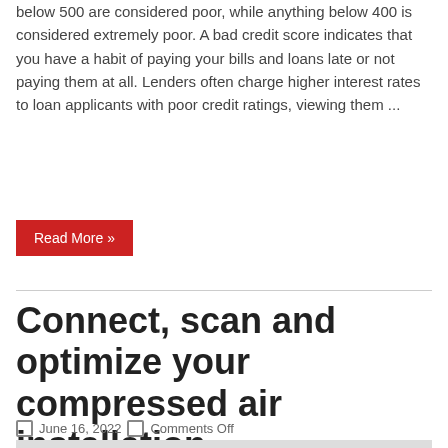below 500 are considered poor, while anything below 400 is considered extremely poor. A bad credit score indicates that you have a habit of paying your bills and loans late or not paying them at all. Lenders often charge higher interest rates to loan applicants with poor credit ratings, viewing them ...
Read More »
Connect, scan and optimize your compressed air installation
June 16, 2022   Comments Off
[Figure (photo): A hand holding a smartphone displaying a blue app interface, blurred background]